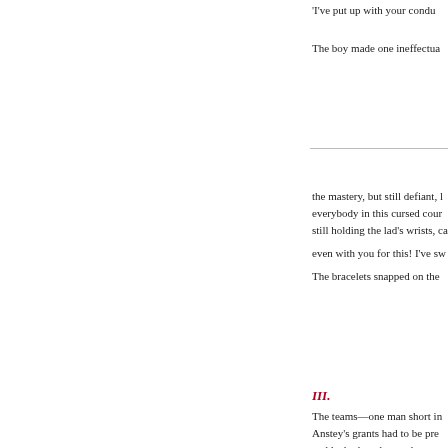'I've put up with your conduct...
The boy made one ineffectua...
the mastery, but still defiant, l... everybody in this cursed cour... still holding the lad's wrists, ca... even with you for this! I've sw...
The bracelets snapped on the...
III.
The teams—one man short in... Anstey's grants had to be pre... paddock, the other to the wes...
own hearts. No task so tore th... cicatrices; but the ploughshar...